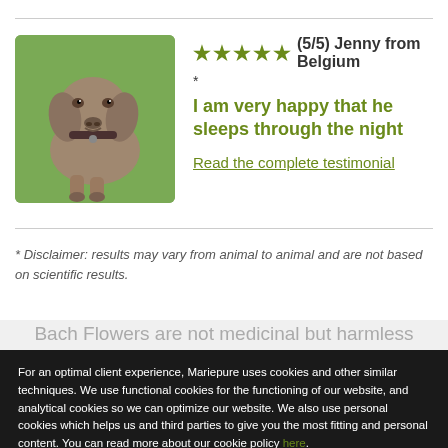[Figure (photo): Photo of a Weimaraner dog sitting on green grass, looking at camera]
★★★★★ (5/5) Jenny from Belgium
*
I am very happy that he sleeps through the night
Read the complete testimonial
* Disclaimer: results may vary from animal to animal and are not based on scientific results.
Bach Flowers are not medicinal but harmless...
For an optimal client experience, Mariepure uses cookies and other similar techniques. We use functional cookies for the functioning of our website, and analytical cookies so we can optimize our website. We also use personal cookies which helps us and third parties to give you the most fitting and personal content. You can read more about our cookie policy here.